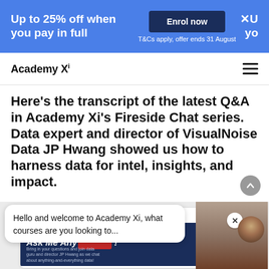Up to 25% off when you pay in full | Enrol now | T&Cs apply, offer ends 31 August
[Figure (logo): Academy Xi logo with hamburger menu]
Here's the transcript of the latest Q&A in Academy Xi's Fireside Chat series. Data expert and director of VisualNoise Data JP Hwang showed us how to harness data for intel, insights, and impact.
[Figure (screenshot): Academy Xi 'I'm a Data Expert – Ask Me Anything!' event card with JP Hwang photo and chat popup saying: Hello and welcome to Academy Xi, what courses are you looking to...]
Hello and welcome to Academy Xi, what courses are you looking to...
Bring in your questions and join data guru and director JP Hwang as we chat about anything-and-everything data!